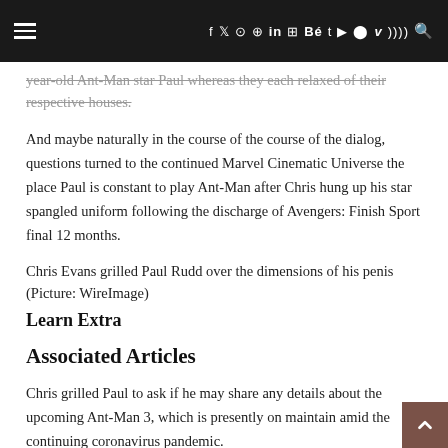≡  f  𝕏  ⊙  ⊕  in  ◻  Bé  t  ▶  ⊙  𝙑  ⋙  🔍
year-old Ant-Man star Paul whereas they each relaxed of their respective houses.
And maybe naturally in the course of the course of the dialog, questions turned to the continued Marvel Cinematic Universe the place Paul is constant to play Ant-Man after Chris hung up his star spangled uniform following the discharge of Avengers: Finish Sport final 12 months.
Chris Evans grilled Paul Rudd over the dimensions of his penis (Picture: WireImage)
Learn Extra
Associated Articles
Chris grilled Paul to ask if he may share any details about the upcoming Ant-Man 3, which is presently on maintain amid the continuing coronavirus pandemic.